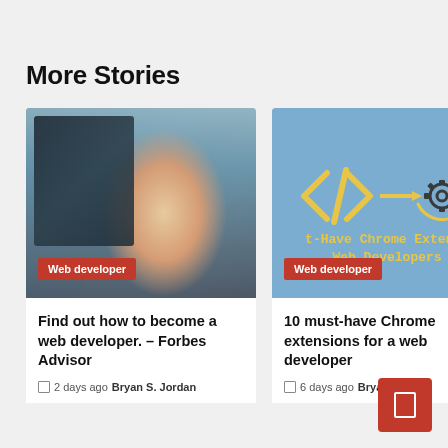More Stories
[Figure (photo): Woman with glasses smiling in front of multiple computer monitors showing code]
Web developer
Find out how to become a web developer. – Forbes Advisor
2 days ago  Bryan S. Jordan
[Figure (illustration): Blue background with yellow code brackets </> and a gear/settings icon with arrow, text reading 't-Have Chrome Extensi Web Developers']
Web developer
10 must-have Chrome extensions for a web developer
6 days ago  Bryan S. Jordan